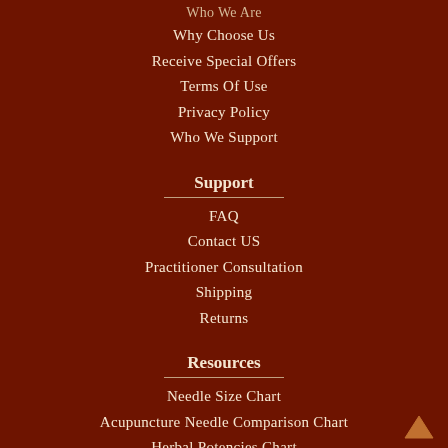Who We Are
Why Choose Us
Receive Special Offers
Terms Of Use
Privacy Policy
Who We Support
Support
FAQ
Contact US
Practitioner Consultation
Shipping
Returns
Resources
Needle Size Chart
Acupuncture Needle Comparison Chart
Herbal Potencies Chart